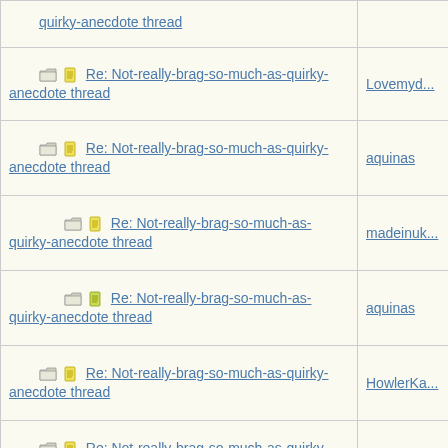| Subject | Author |
| --- | --- |
| Re: Not-really-brag-so-much-as-quirky-anecdote thread (truncated top) |  |
| Re: Not-really-brag-so-much-as-quirky-anecdote thread | Lovemyd... |
| Re: Not-really-brag-so-much-as-quirky-anecdote thread | aquinas |
| Re: Not-really-brag-so-much-as-quirky-anecdote thread | madeinuk... |
| Re: Not-really-brag-so-much-as-quirky-anecdote thread | aquinas |
| Re: Not-really-brag-so-much-as-quirky-anecdote thread | HowlerKa... |
| Re: Not-really-brag-so-much-as-quirky-anecdote thread | aquinas |